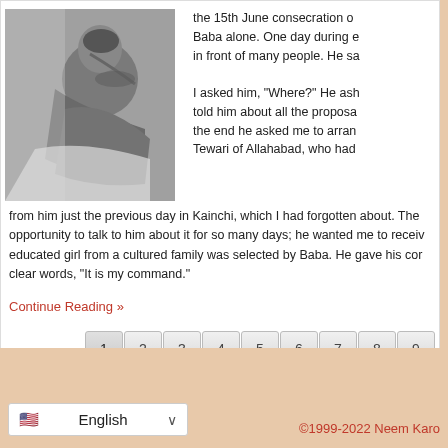[Figure (photo): Black and white photograph of a man lying down, shirtless, resting his head on his hand, with cloth/bedding visible.]
the 15th June consecration of Baba alone. One day during e in front of many people. He sa
I asked him, "Where?" He ash told him about all the proposa the end he asked me to arran Tewari of Allahabad, who had from him just the previous day in Kainchi, which I had forgotten about. The opportunity to talk to him about it for so many days; he wanted me to receiv educated girl from a cultured family was selected by Baba. He gave his cor clear words, "It is my command."
Continue Reading »
©1999-2022 Neem Karo